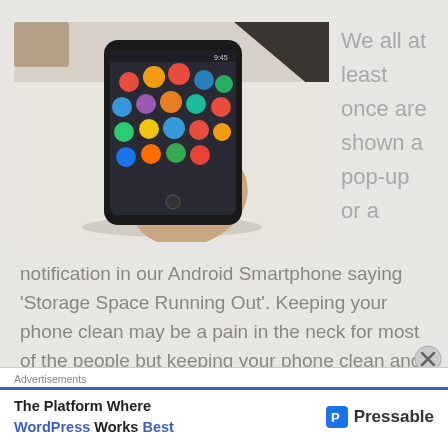[Figure (photo): A hand holding a black Android smartphone showing the home screen with colorful app icons, on a light desk surface with a dark corner visible.]
We all at least once are shown a pop-up or a
notification in our Android Smartphone saying ‘Storage Space Running Out’. Keeping your phone clean may be a pain in the neck for most of the people but keeping your phone clean and free of junk files can result in an
Advertisements
The Platform Where WordPress Works Best